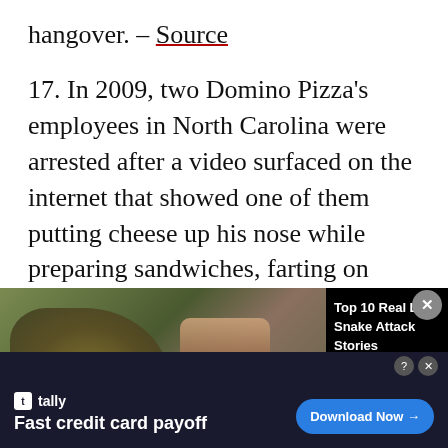hangover. – Source
17. In 2009, two Domino Pizza's employees in North Carolina were arrested after a video surfaced on the internet that showed one of them putting cheese up his nose while preparing sandwiches, farting on salami slices, and blowing his nose on the
[Figure (screenshot): Embedded video player showing a man holding a snake, with WatchMojo logo, overlaid with 'Top 10 Real Life Snake Attack Stories' title panel and close button]
18. McDonald's restaurants on Canada's east
Coas
[Figure (screenshot): Advertisement for Tally app - 'Fast credit card payoff' with Download Now button]